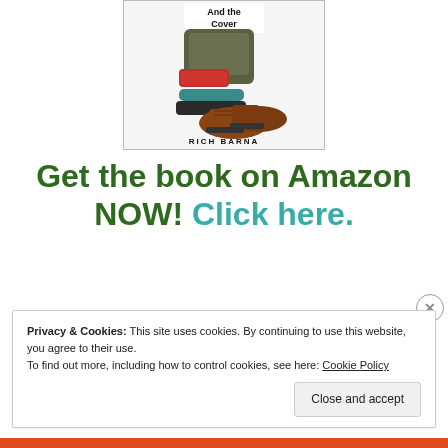[Figure (illustration): Book cover image showing hiking gear including backpack, bags, and worn leather hiking boots. Text 'And the Cover' visible at top. Author name 'RICH BARNA' at bottom.]
Get the book on Amazon NOW! Click here.
Privacy & Cookies: This site uses cookies. By continuing to use this website, you agree to their use.
To find out more, including how to control cookies, see here: Cookie Policy
Close and accept